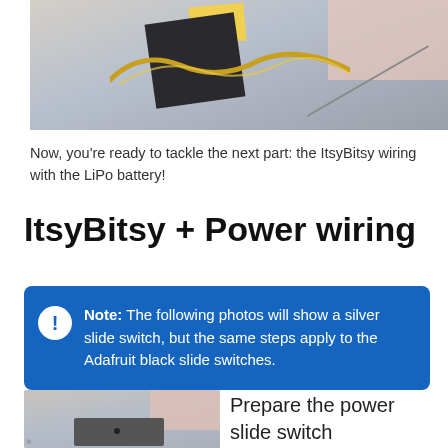[Figure (photo): Close-up photo of an ItsyBitsy microcontroller with a yellow sticky note and gold conductive wiring on a gray-blue background with a pink area]
Now, you're ready to tackle the next part: the ItsyBitsy wiring with the LiPo battery!
ItsyBitsy + Power wiring
Note: The following photos will show a silver slide switch, but the same steps apply to the Adafruit black slide switches.
[Figure (photo): Close-up photo of a small electronic slide switch component on a gray-blue and pink background]
Prepare the power slide switch